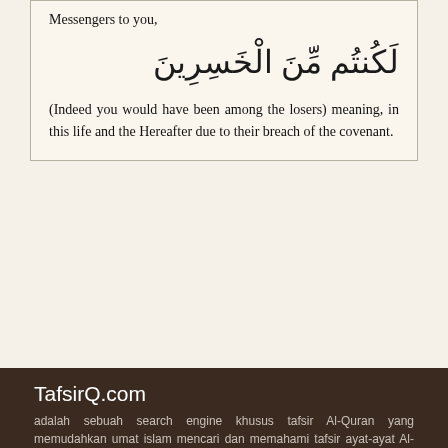Messengers to you,
[Figure (other): Arabic text: لَكُنتُم مِّنَ الْخَسِرِينَ]
(Indeed you would have been among the losers) meaning, in this life and the Hereafter due to their breach of the covenant.
TafsirQ.com
adalah sebuah search engine khusus tafsir Al-Quran yang memudahkan umat islam mencari dan memahami tafsir ayat-ayat Al-Qur'an dan Hadits.
© 2015-2022 Javanlabs
Tentang
Tim Kreatif
Sumber Konten
Kebijakan dan Privasi